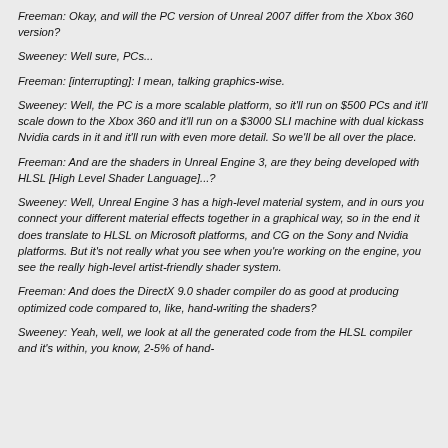Freeman: Okay, and will the PC version of Unreal 2007 differ from the Xbox 360 version?
Sweeney: Well sure, PCs...
Freeman: [interrupting]: I mean, talking graphics-wise.
Sweeney: Well, the PC is a more scalable platform, so it'll run on $500 PCs and it'll scale down to the Xbox 360 and it'll run on a $3000 SLI machine with dual kickass Nvidia cards in it and it'll run with even more detail. So we'll be all over the place.
Freeman: And are the shaders in Unreal Engine 3, are they being developed with HLSL [High Level Shader Language]...?
Sweeney: Well, Unreal Engine 3 has a high-level material system, and in ours you connect your different material effects together in a graphical way, so in the end it does translate to HLSL on Microsoft platforms, and CG on the Sony and Nvidia platforms. But it's not really what you see when you're working on the engine, you see the really high-level artist-friendly shader system.
Freeman: And does the DirectX 9.0 shader compiler do as good at producing optimized code compared to, like, hand-writing the shaders?
Sweeney: Yeah, well, we look at all the generated code from the HLSL compiler and it's within, you know, 2-5% of hand-